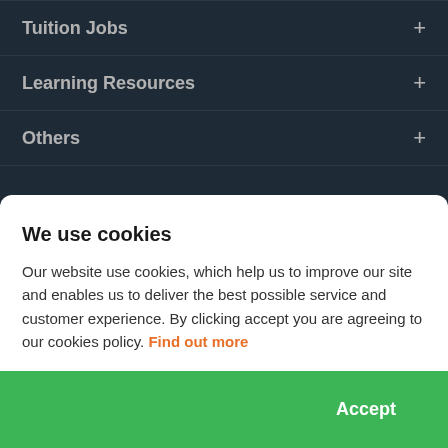Tuition Jobs +
Learning Resources +
Others +
Hire a Tutor – It's Free
Become a Tutor
We use cookies
Our website use cookies, which help us to improve our site and enables us to deliver the best possible service and customer experience. By clicking accept you are agreeing to our cookies policy. Find out more
Accept